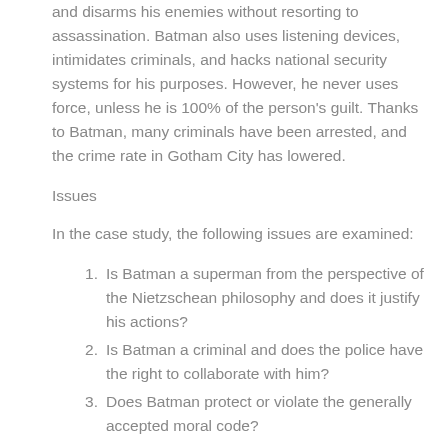and disarms his enemies without resorting to assassination. Batman also uses listening devices, intimidates criminals, and hacks national security systems for his purposes. However, he never uses force, unless he is 100% of the person's guilt. Thanks to Batman, many criminals have been arrested, and the crime rate in Gotham City has lowered.
Issues
In the case study, the following issues are examined:
Is Batman a superman from the perspective of the Nietzschean philosophy and does it justify his actions?
Is Batman a criminal and does the police have the right to collaborate with him?
Does Batman protect or violate the generally accepted moral code?
Theoretical Application